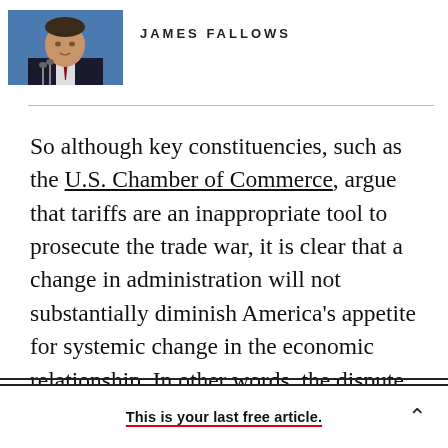[Figure (photo): Headshot photo of a man in a suit speaking at a podium with microphones, blue background]
JAMES FALLOWS
So although key constituencies, such as the U.S. Chamber of Commerce, argue that tariffs are an inappropriate tool to prosecute the trade war, it is clear that a change in administration will not substantially diminish America's appetite for systemic change in the economic relationship. In other words, the dispute predated and will outlast Donald Trump. The conventional bipartisan wisdom that dialogue with Beijing can change
This is your last free article.